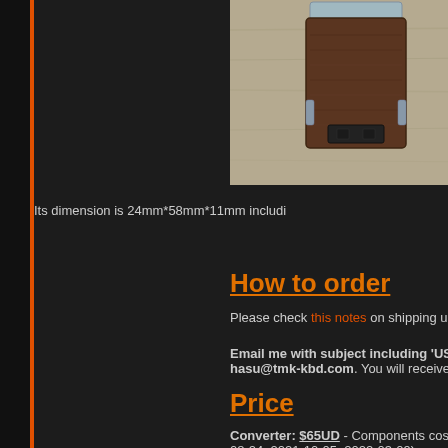[Figure (photo): Close-up photo of a USB connector/adapter, brown/copper colored USB-A plug shown from front, on a wooden surface background]
Its dimension is 24mm*58mm*11mm includi
How to order
Please check this notes on shipping under O
Email me with subject including 'USB-US hasu@tmk-kbd.com. You will receive PayP
Price
Converter:  $65UD - Components cost is ri 08-24, 2021-10-05, 2022-03-09)